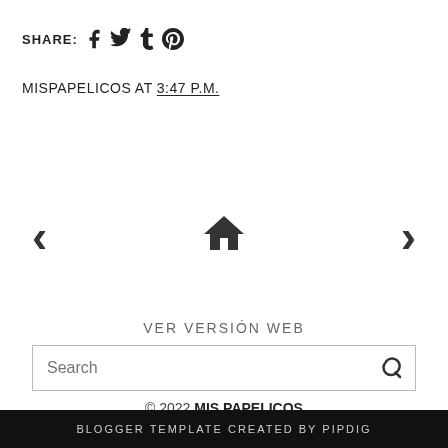SHARE: [facebook] [twitter] [tumblr] [pinterest]
MISPAPELICOS AT 3:47 P.M.
< [home icon] >
VER VERSIÓN WEB
Search
© 2022 MIS PAPELICOS
BLOGGER TEMPLATE CREATED BY pipdig